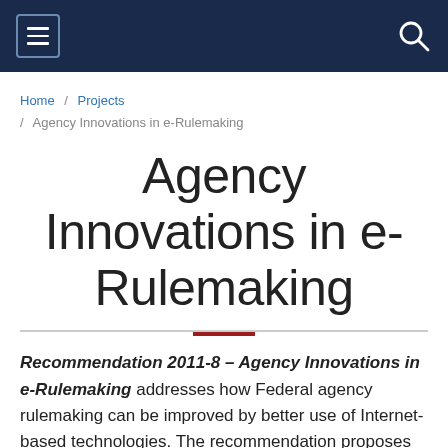[Navigation bar with menu and search icons]
Home / Projects / Agency Innovations in e-Rulemaking
Agency Innovations in e-Rulemaking
Recommendation 2011-8 – Agency Innovations in e-Rulemaking addresses how Federal agency rulemaking can be improved by better use of Internet-based technologies. The recommendation proposes ways agencies can make rulemaking information, including